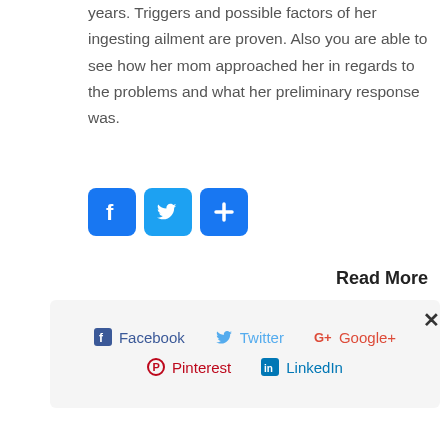years. Triggers and possible factors of her ingesting ailment are proven. Also you are able to see how her mom approached her in regards to the problems and what her preliminary response was.
[Figure (infographic): Three social media share buttons: Facebook (blue 'f' icon), Twitter (blue bird icon), and a blue plus/share icon]
Read More
[Figure (infographic): Share panel overlay with close X button, showing Facebook, Twitter, Google+, Pinterest, and LinkedIn share options with their respective icons and brand colors]